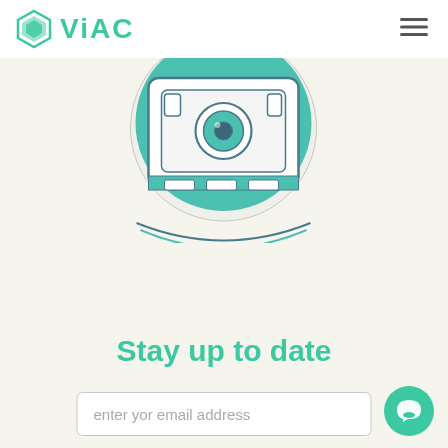ViAC
[Figure (illustration): Illustration of a vintage camera or safe/vault device inside a teal circular background, viewed from above. The device has a lens/eye in the center, rectangular body, and mechanical details.]
Stay up to date
enter yor email address